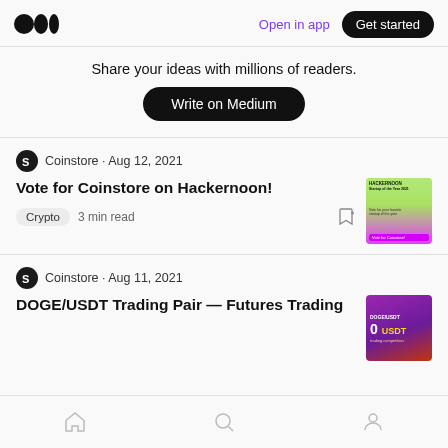Medium — Open in app — Get started
Share your ideas with millions of readers.
Write on Medium
Coinstore · Aug 12, 2021
Vote for Coinstore on Hackernoon!
Crypto  3 min read
Coinstore · Aug 11, 2021
DOGE/USDT Trading Pair — Futures Trading
Home  Search  Profile